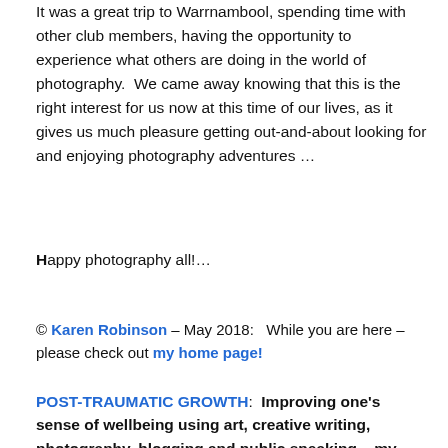It was a great trip to Warrnambool, spending time with other club members, having the opportunity to experience what others are doing in the world of photography.  We came away knowing that this is the right interest for us now at this time of our lives, as it gives us much pleasure getting out-and-about looking for and enjoying photography adventures …
Happy photography all!…
© Karen Robinson – May 2018:   While you are here – please check out my home page!
POST-TRAUMATIC GROWTH:  Improving one's sense of wellbeing using art, creative writing, photography, blogging and public speaking – my journey written by